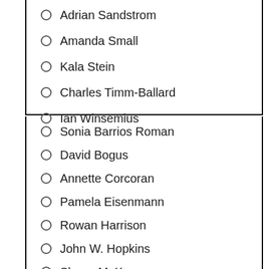Adrian Sandstrom
Amanda Small
Kala Stein
Charles Timm-Ballard
Ian Winsemius
Sonia Barrios Roman
David Bogus
Annette Corcoran
Pamela Eisenmann
Rowan Harrison
John W. Hopkins
Shane M. Keena
Mary Alison Lucas
Peter Meyer
Kathy Pallie